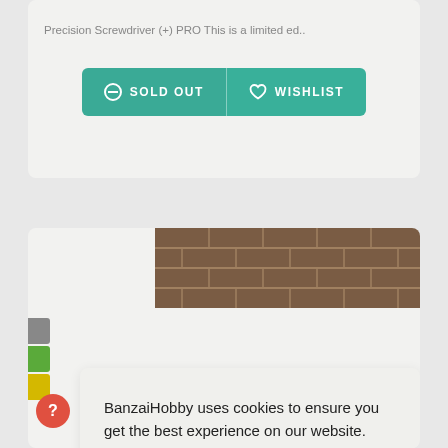Precision Screwdriver (+) PRO This is a limited ed..
[Figure (screenshot): Sold Out and Wishlist buttons in teal/green]
[Figure (photo): Brick wall texture image in upper right of bottom card]
BanzaiHobby uses cookies to ensure you get the best experience on our website. Further information about cookies please visit
Privacy Policy
Got it!